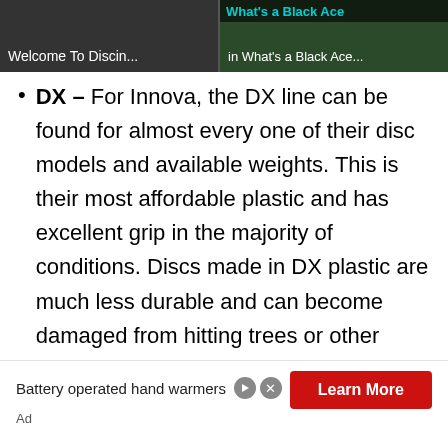[Figure (screenshot): Two video thumbnails side by side on a dark background. Left thumbnail shows 'Welcome To Discin...' in white text. Right thumbnail shows 'What's a Black Ace...' with teal/cyan overlay title text and a green background.]
DX – For Innova, the DX line can be found for almost every one of their disc models and available weights. This is their most affordable plastic and has excellent grip in the majority of conditions. Discs made in DX plastic are much less durable and can become damaged from hitting trees or other obstacles.
[Figure (screenshot): Advertisement banner: 'Battery operated hand warmers' text on left with play and close controls, and a red 'Learn More' button on the right. 'Ad' label at bottom left.]